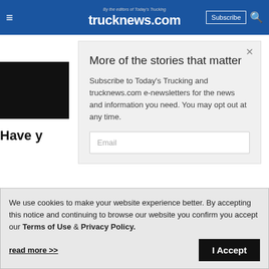trucknews.com — By the editors of Today's Trucking
[Figure (screenshot): Black image placeholder representing a photo thumbnail]
Have y...
More of the stories that matter
Subscribe to Today's Trucking and trucknews.com e-newsletters for the news and information you need. You may opt out at any time.
Email
We use cookies to make your website experience better. By accepting this notice and continuing to browse our website you confirm you accept our Terms of Use & Privacy Policy.
read more >>
I Accept
will not be